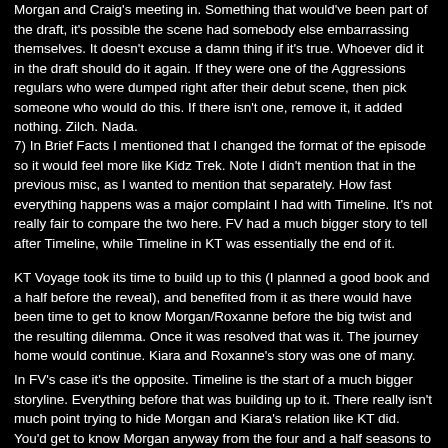Morgan and Craig's meeting in. Something that would've been part of the draft, it's possible the scene had somebody else embarrassing themselves. It doesn't excuse a damn thing if it's true. Whoever did it in the draft should do it again. If they were one of the Aggressions regulars who were dumped right after their debut scene, then pick someone who would do this. If there isn't one, remove it, it added nothing. Zilch. Nada.
7) In Brief Facts I mentioned that I changed the format of the episode so it would feel more like Kidz Trek. Note I didn't mention that in the previous misc, as I wanted to mention that separately. How fast everything happens was a major complaint I had with Timeline. It's not really fair to compare the two here. FV had a much bigger story to tell after Timeline, while Timeline in KT was essentially the end of it.
KT Voyage took its time to build up to this (I planned a good book and a half before the reveal), and benefited from it as there would have been time to get to know Morgan/Roxanne before the big twist and the resulting dilemma. Once it was resolved that was it. The journey home would continue. Kiara and Roxanne's story was one of many.
In FV's case it's the opposite. Timeline is the start of a much bigger storyline. Everything before that was building up to it. There really isn't much point trying to hide Morgan and Kiara's relation like KT did. You'd get to know Morgan anyway from the four and a half seasons to come. The dilemma of who should we sacrifice wasn't the be all and end of it, it's a key turning point. With Kidz Trek it's a...